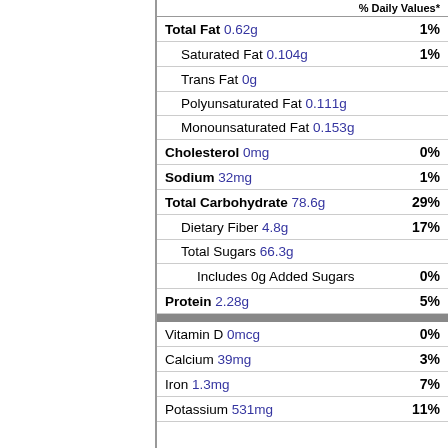| Nutrient | Amount | % Daily Value |
| --- | --- | --- |
| Total Fat | 0.62g | 1% |
| Saturated Fat | 0.104g | 1% |
| Trans Fat | 0g |  |
| Polyunsaturated Fat | 0.111g |  |
| Monounsaturated Fat | 0.153g |  |
| Cholesterol | 0mg | 0% |
| Sodium | 32mg | 1% |
| Total Carbohydrate | 78.6g | 29% |
| Dietary Fiber | 4.8g | 17% |
| Total Sugars | 66.3g |  |
| Includes 0g Added Sugars |  | 0% |
| Protein | 2.28g | 5% |
| Vitamin D | 0mcg | 0% |
| Calcium | 39mg | 3% |
| Iron | 1.3mg | 7% |
| Potassium | 531mg | 11% |